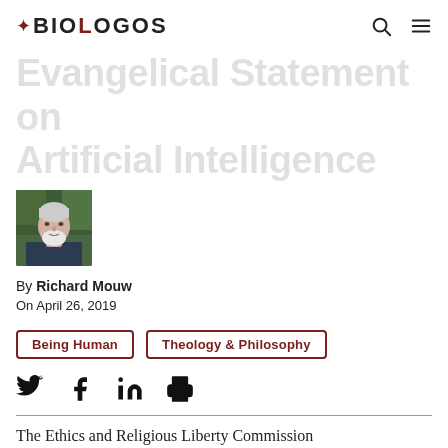BioLogos
Evangelical Statement on Artificial Intelligence
[Figure (photo): Headshot photo of an elderly man with white hair and beard, wearing a dark shirt, outdoors with green foliage background]
By Richard Mouw
On April 26, 2019
Being Human
Theology & Philosophy
The Ethics and Religious Liberty Commission (ERLC) of the Southern Baptist Convention recently